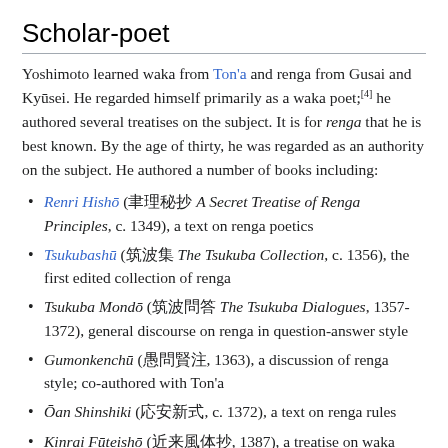Scholar-poet
Yoshimoto learned waka from Ton'a and renga from Gusai and Kyūsei. He regarded himself primarily as a waka poet;[4] he authored several treatises on the subject. It is for renga that he is best known. By the age of thirty, he was regarded as an authority on the subject. He authored a number of books including:
Renri Hishō (聯理秘抄) A Secret Treatise of Renga Principles, c. 1349), a text on renga poetics
Tsukubashū (筑波集) The Tsukuba Collection, c. 1356), the first edited collection of renga
Tsukuba Mondō (筑波問答) The Tsukuba Dialogues, 1357-1372), general discourse on renga in question-answer style
Gumonkenchū (愚問賢注, 1363), a discussion of renga style; co-authored with Ton'a
Ōan Shinshiki (応安新式, c. 1372), a text on renga rules
Kinrai Fūteishō (近来風体抄, 1387), a treatise on waka poetics
Historian